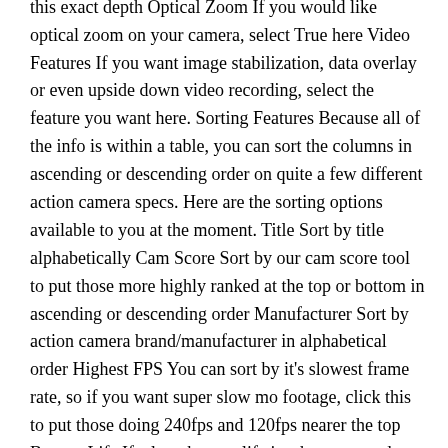be scuba and will dive to at least 10m or more, put in -10 and it will show cameras that can go deeper than this exact depth Optical Zoom If you would like optical zoom on your camera, select True here Video Features If you want image stabilization, data overlay or even upside down video recording, select the feature you want here. Sorting Features Because all of the info is within a table, you can sort the columns in ascending or descending order on quite a few different action camera specs. Here are the sorting options available to you at the moment. Title Sort by title alphabetically Cam Score Sort by our cam score tool to put those more highly ranked at the top or bottom in ascending or descending order Manufacturer Sort by action camera brand/manufacturer in alphabetical order Highest FPS You can sort by it's slowest frame rate, so if you want super slow mo footage, click this to put those doing 240fps and 120fps nearer the top Battery Life If a long battery life is what you need, sort by this to show those with the best battery life in descending order Field of View If you are looking for an action camera and a specific field of view, or something narrow or something really wide, click this to sort by field of view size Depth Rating Sort by how deep the camera can go to put those ready for scuba, freediving, spearing and snorkeling at the top Memory Capacity Sort by the size of the